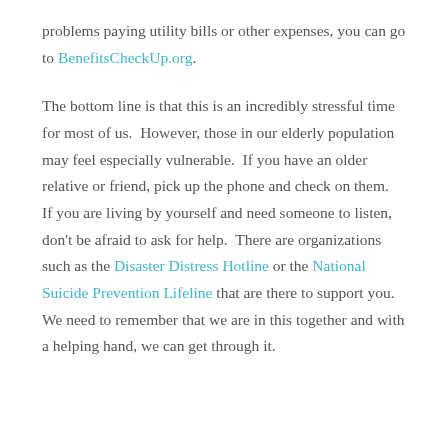problems paying utility bills or other expenses, you can go to BenefitsCheckUp.org.
The bottom line is that this is an incredibly stressful time for most of us. However, those in our elderly population may feel especially vulnerable. If you have an older relative or friend, pick up the phone and check on them. If you are living by yourself and need someone to listen, don't be afraid to ask for help. There are organizations such as the Disaster Distress Hotline or the National Suicide Prevention Lifeline that are there to support you. We need to remember that we are in this together and with a helping hand, we can get through it.